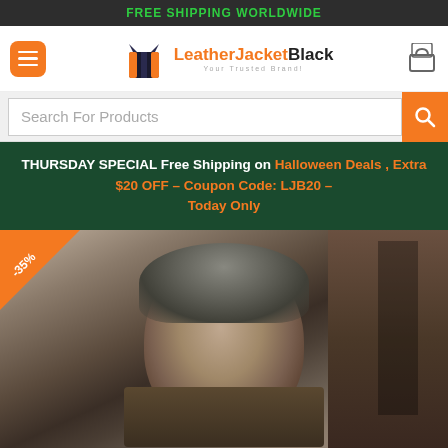FREE SHIPPING WORLDWIDE
[Figure (logo): LeatherJacketBlack logo with jacket icon and tagline 'Your Trusted Brand!']
Search For Products
THURSDAY SPECIAL Free Shipping on Halloween Deals , Extra $20 OFF – Coupon Code: LJB20 – Today Only
[Figure (photo): Close-up photo of a middle-aged man with grey hair in a brown jacket, with a -35% discount badge in the top-left corner]